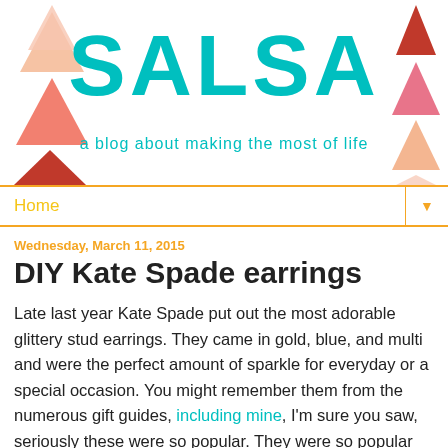[Figure (illustration): Blog header with SALSA title in teal/cyan handwritten font, decorative triangles in various shades of red/pink/peach on both sides, subtitle 'a blog about making the most of life' in teal]
Home
Wednesday, March 11, 2015
DIY Kate Spade earrings
Late last year Kate Spade put out the most adorable glittery stud earrings. They came in gold, blue, and multi and were the perfect amount of sparkle for everyday or a special occasion. You might remember them from the numerous gift guides, including mine, I'm sure you saw, seriously these were so popular. They were so popular that they sold out everywhere before I could snatch up a pair for myself. So